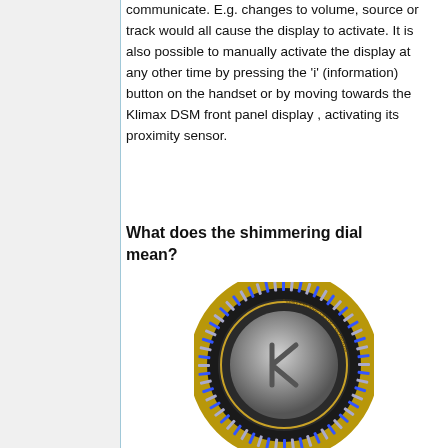communicate. E.g. changes to volume, source or track would all cause the display to activate. It is also possible to manually activate the display at any other time by pressing the 'i' (information) button on the handset or by moving towards the Klimax DSM front panel display , activating its proximity sensor.
What does the shimmering dial mean?
[Figure (photo): Photo of a circular Linn Products dial/knob with blue and white shimmer LEDs around the rim and a metallic center with the Klimax logo]